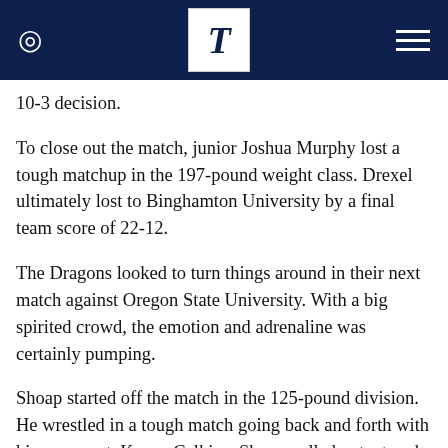T
10-3 decision.
To close out the match, junior Joshua Murphy lost a tough matchup in the 197-pound weight class. Drexel ultimately lost to Binghamton University by a final team score of 22-12.
The Dragons looked to turn things around in their next match against Oregon State University. With a big spirited crowd, the emotion and adrenaline was certainly pumping.
Shoap started off the match in the 125-pound division. He wrestled in a tough match going back and forth with his opponent, Kegan Calkins. Shoap pulled out a tough 15-11 decision. In the 133-pound weight class,